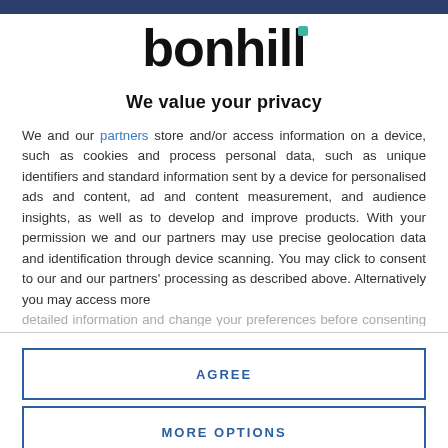[Figure (logo): Bonhill logo: black bold text 'bonhill' with a small teal/green square above the letter 'i']
We value your privacy
We and our partners store and/or access information on a device, such as cookies and process personal data, such as unique identifiers and standard information sent by a device for personalised ads and content, ad and content measurement, and audience insights, as well as to develop and improve products. With your permission we and our partners may use precise geolocation data and identification through device scanning. You may click to consent to our and our partners' processing as described above. Alternatively you may access more detailed information...
AGREE
MORE OPTIONS
idea of diversity and is a classic sign of an